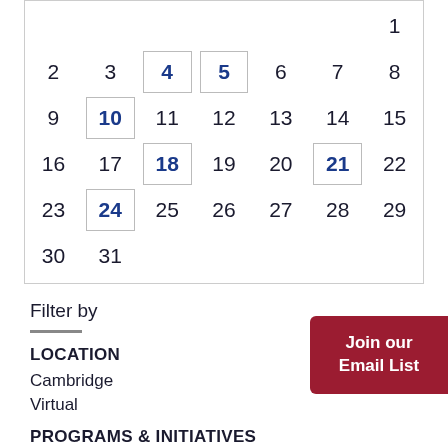| Sun | Mon | Tue | Wed | Thu | Fri | Sat |
| --- | --- | --- | --- | --- | --- | --- |
|  |  |  |  |  |  | 1 |
| 2 | 3 | 4* | 5* | 6 | 7 | 8 |
| 9 | 10* | 11 | 12 | 13 | 14 | 15 |
| 16 | 17 | 18* | 19 | 20 | 21* | 22 |
| 23 | 24* | 25 | 26 | 27 | 28 | 29 |
| 30 | 31 |  |  |  |  |  |
Filter by
LOCATION
Cambridge
Virtual
PROGRAMS & INITIATIVES
Anchor & Southern C...